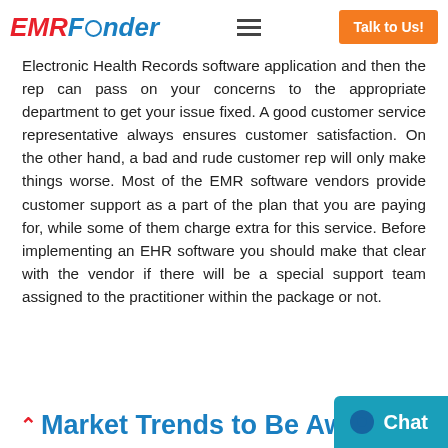EMR Finder | Talk to Us!
Electronic Health Records software application and then the rep can pass on your concerns to the appropriate department to get your issue fixed. A good customer service representative always ensures customer satisfaction. On the other hand, a bad and rude customer rep will only make things worse. Most of the EMR software vendors provide customer support as a part of the plan that you are paying for, while some of them charge extra for this service. Before implementing an EHR software you should make that clear with the vendor if there will be a special support team assigned to the practitioner within the package or not.
Market Trends to Be Aware